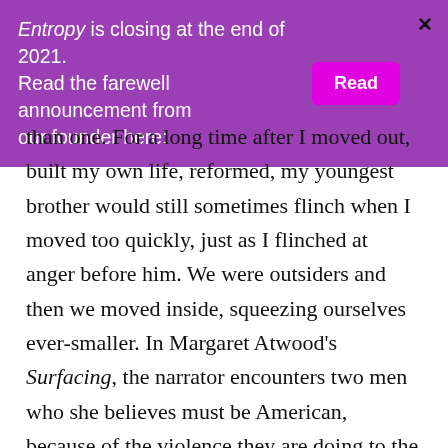Entropy is closing at the end of 2021. Read the farewell announcement from our founder here: [Read]
than one. For a long time after I moved out, built my own life, reformed, my youngest brother would still sometimes flinch when I moved too quickly, just as I flinched at anger before him. We were outsiders and then we moved inside, squeezing ourselves ever-smaller. In Margaret Atwood's Surfacing, the narrator encounters two men who she believes must be American, because of the violence they are doing to the forest, part of an army of such invaders coming north,